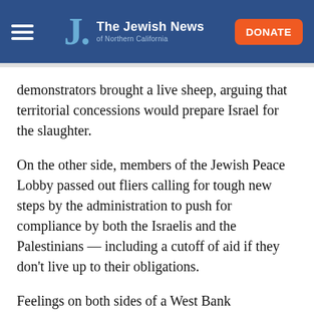The Jewish News of Northern California
demonstrators brought a live sheep, arguing that territorial concessions would prepare Israel for the slaughter.
On the other side, members of the Jewish Peace Lobby passed out fliers calling for tough new steps by the administration to push for compliance by both the Israelis and the Palestinians — including a cutoff of aid if they don't live up to their obligations.
Feelings on both sides of a West Bank withdrawal resulted in a sudden increase in ad revenue for major newspapers as groups — including the